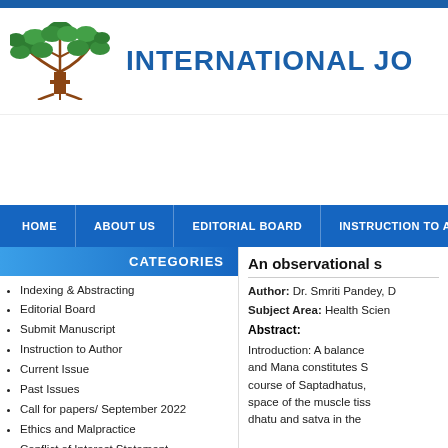[Figure (logo): Green tree logo with red-brown trunk and branches, leaves spread wide]
INTERNATIONAL JO
HOME   ABOUT US   EDITORIAL BOARD   INSTRUCTION TO AUTH
CATEGORIES
Indexing & Abstracting
Editorial Board
Submit Manuscript
Instruction to Author
Current Issue
Past Issues
Call for papers/ September 2022
Ethics and Malpractice
Conflict of Interest Statement
An observational s
Author: Dr. Smriti Pandey, D
Subject Area: Health Scien
Abstract:
Introduction: A balance and Mana constitutes S course of Saptadhatus, space of the muscle tiss dhatu and satva in the